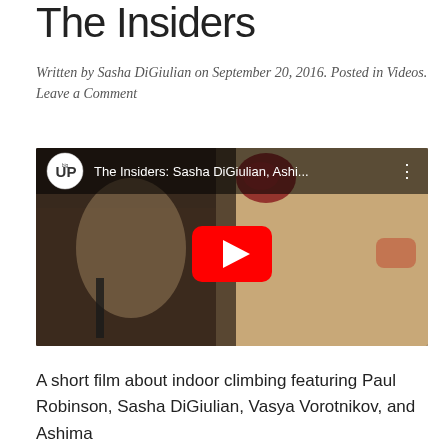The Insiders
Written by Sasha DiGiulian on September 20, 2016. Posted in Videos. Leave a Comment
[Figure (screenshot): YouTube video thumbnail showing a female climber on an indoor climbing wall. Video title: 'The Insiders: Sasha DiGiulian, Ashi...' with bigUP Productions logo. Red play button in center.]
A short film about indoor climbing featuring Paul Robinson, Sasha DiGiulian, Vasya Vorotnikov, and Ashima